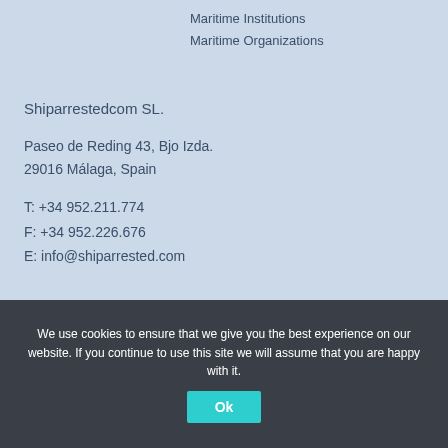Maritime Institutions
Maritime Organizations
Shiparrestedcom SL.
Paseo de Reding 43, Bjo Izda.
29016 Málaga, Spain
T: +34 952.211.774
F: +34 952.226.676
E: info@shiparrested.com
We use cookies to ensure that we give you the best experience on our website. If you continue to use this site we will assume that you are happy with it.